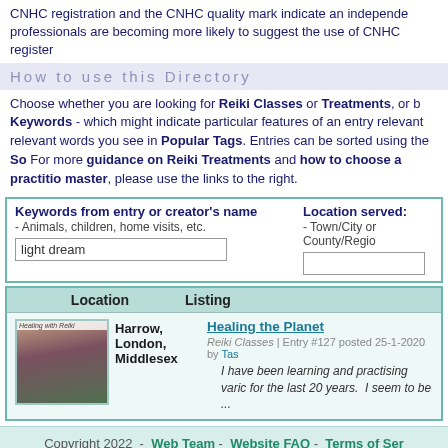CNHC registration and the CNHC quality mark indicate an independence professionals are becoming more likely to suggest the use of CNHC register
How to use this Directory
Choose whether you are looking for Reiki Classes or Treatments, or b Keywords - which might indicate particular features of an entry relevant relevant words you see in Popular Tags. Entries can be sorted using the So For more guidance on Reiki Treatments and how to choose a practitio master, please use the links to the right.
Keywords from entry or creator's name
- Animals, children, home visits, etc.
[light dream]
Location served:
- Town/City or County/Region
| Location | Listing |
| --- | --- |
| Harrow, London, Middlesex | Healing the Planet
Reiki Classes | Entry #127 posted 25-1-2020 by Tas
I have been learning and practising varic for the last 20 years.  I seem to be ... |
Copyright 2022  -  Web Team -  Website FAQ -  Terms of Ser